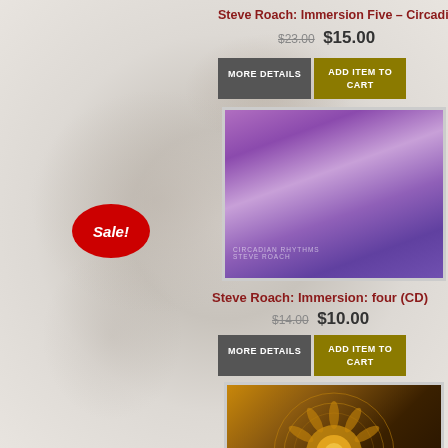Steve Roach: Immersion Five – Circadian Rhythms
$23.00 $15.00
[Figure (screenshot): MORE DETAILS button (dark grey) and ADD ITEM TO CART button (olive/gold)]
[Figure (photo): Album cover: purple/violet abstract clouds – Steve Roach Immersion Five]
Sale!
Steve Roach: Immersion: four (CD)
$14.00 $10.00
[Figure (screenshot): MORE DETAILS button (dark grey) and ADD ITEM TO CART button (olive/gold)]
Out of stock
[Figure (photo): Album cover: ornate mandala pattern in brown/gold tones – Into The Majestic by Steve Roach]
Steve Roach: Into The Majestic (CD)
$14.00